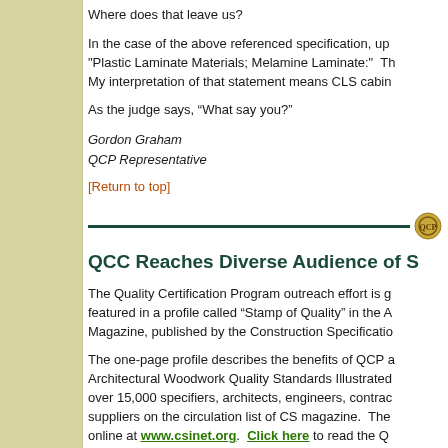Where does that leave us?
In the case of the above referenced specification, up... "Plastic Laminate Materials; Melamine Laminate:" Th... My interpretation of that statement means CLS cabin...
As the judge says, “What say you?”
Gordon Graham
QCP Representative
[Return to top]
[Figure (other): Horizontal dark green divider line with a circular emblem/logo at the right end]
QCC Reaches Diverse Audience of S...
The Quality Certification Program outreach effort is g... featured in a profile called “Stamp of Quality” in the A... Magazine, published by the Construction Specificatio...
The one-page profile describes the benefits of QCP a... Architectural Woodwork Quality Standards Illustrated... over 15,000 specifiers, architects, engineers, contrac... suppliers on the circulation list of CS magazine. The... online at www.csinet.org. Click here to read the Q...
[Return to top]